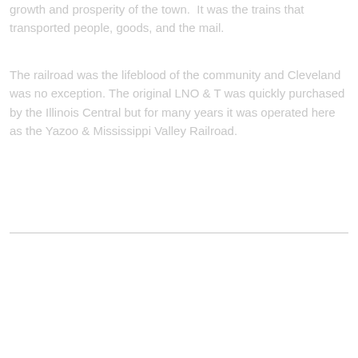growth and prosperity of the town.  It was the trains that transported people, goods, and the mail.
The railroad was the lifeblood of the community and Cleveland was no exception. The original LNO & T was quickly purchased by the Illinois Central but for many years it was operated here as the Yazoo & Mississippi Valley Railroad.